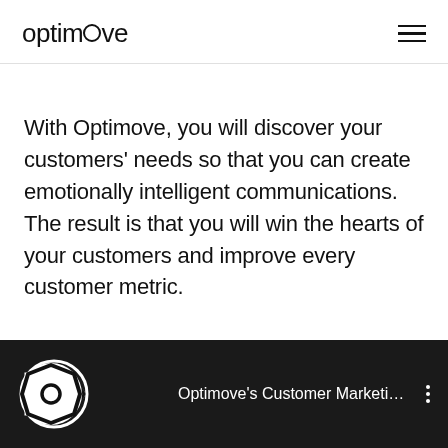optimove
With Optimove, you will discover your customers' needs so that you can create emotionally intelligent communications. The result is that you will win the hearts of your customers and improve every customer metric.
[Figure (screenshot): Video thumbnail showing Optimove's Customer Marketing video with a circular logo icon on the left and the text 'Optimove's Customer Marketing ...' with a vertical three-dot menu on the right, dark background.]